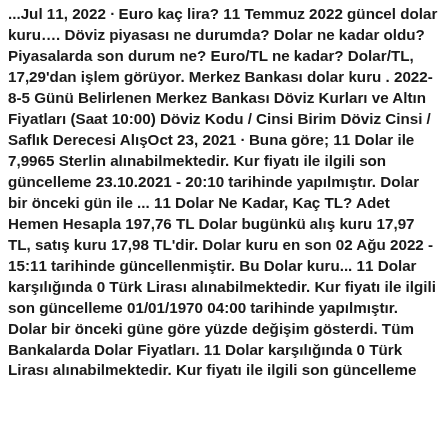...Jul 11, 2022 · Euro kaç lira? 11 Temmuz 2022 güncel dolar kuru…. Döviz piyasası ne durumda? Dolar ne kadar oldu? Piyasalarda son durum ne? Euro/TL ne kadar? Dolar/TL, 17,29'dan işlem görüyor. Merkez Bankası dolar kuru . 2022-8-5 Günü Belirlenen Merkez Bankası Döviz Kurları ve Altın Fiyatları (Saat 10:00) Döviz Kodu / Cinsi Birim Döviz Cinsi / Saflık Derecesi AlışOct 23, 2021 · Buna göre; 11 Dolar ile 7,9965 Sterlin alınabilmektedir. Kur fiyatı ile ilgili son güncelleme 23.10.2021 - 20:10 tarihinde yapılmıştır. Dolar bir önceki gün ile ... 11 Dolar Ne Kadar, Kaç TL? Adet Hemen Hesapla 197,76 TL Dolar bugünkü alış kuru 17,97 TL, satış kuru 17,98 TL'dir. Dolar kuru en son 02 Ağu 2022 - 15:11 tarihinde güncellenmiştir. Bu Dolar kuru... 11 Dolar karşılığında 0 Türk Lirası alınabilmektedir. Kur fiyatı ile ilgili son güncelleme 01/01/1970 04:00 tarihinde yapılmıştır. Dolar bir önceki güne göre yüzde değişim gösterdi. Tüm Bankalarda Dolar Fiyatları. 11 Dolar karşılığında 0 Türk Lirası alınabilmektedir. Kur fiyatı ile ilgili son güncelleme